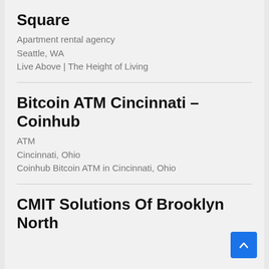Square
Apartment rental agency
Seattle, WA
Live Above | The Height of Living
Bitcoin ATM Cincinnati – Coinhub
ATM
Cincinnati, Ohio
Coinhub Bitcoin ATM in Cincinnati, Ohio
CMIT Solutions Of Brooklyn North